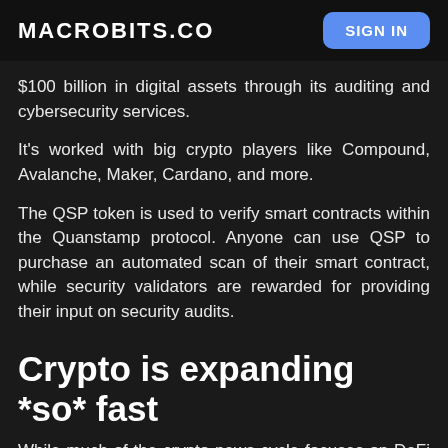MACROBITS.CO | SIGN IN
$100 billion in digital assets through its auditing and cybersecurity services.
It's worked with big crypto players like Compound, Avalanche, Maker, Cardano, and more.
The QSP token is used to verify smart contracts within the Quanstamp protocol. Anyone can use QSP to purchase an automated scan of their smart contract, while security validators are rewarded for providing their input on security audits.
Crypto is expanding *so* fast
While much of the crypto news cycle focuses on DeFi and DAOs (and rightfully so), there are new